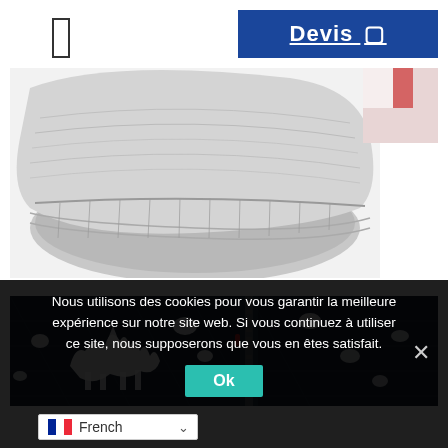[Figure (screenshot): Navigation menu icon (hamburger/rectangle outline) in top left area]
[Figure (screenshot): Blue button with white bold underlined text 'Devis' and a small icon, top right header]
[Figure (photo): Close-up photo of a grey marl sweatshirt cuff/ribbing on white background]
[Figure (photo): Small partially visible image top right, reddish/white tones]
[Figure (photo): Dark navy blue jacket with white paint splash/unicorn print design, zipper visible]
Nous utilisons des cookies pour vous garantir la meilleure expérience sur notre site web. Si vous continuez à utiliser ce site, nous supposerons que vous en êtes satisfait.
Ok
French